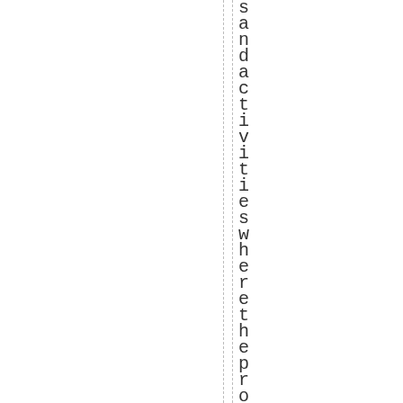s and activities whether the protagonist
[Figure (other): Two vertical dashed lines running the full height of the page]